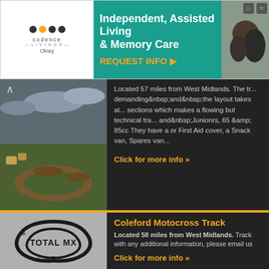[Figure (photo): Advertisement banner for Cadence Living Olney - Independent, Assisted Living & Memory Care with REQUEST INFO call to action]
[Figure (photo): Motocross track photo showing dirt track with grass and hay bales under cloudy sky - partially visible listing]
Located 57 miles from West Midlands. The track is demanding and the layout takes all sections which makes a flowing but technical tra... and Junionrs, 65 &amp; 85cc They have a or First Aid cover, a Snack van, Spares van...
Click for more info »
Coleford Motocross Track
[Figure (logo): Total MX logo - black track outline silhouette on grey background with TOTAL MX text]
Located 58 miles from West Midlands. Track with any additional information, please email us
Click for more info »